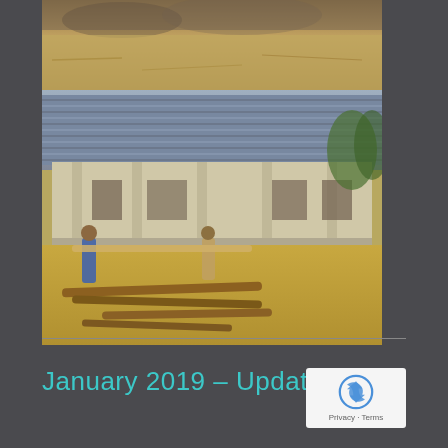[Figure (photo): Two construction site photos stacked vertically: top shows dry sandy/rocky ground with debris, bottom shows a building under construction with corrugated metal roof, workers carrying lumber in foreground with dry yard and scattered logs]
January 2019 – Updates
[Figure (other): reCAPTCHA badge showing recycled arrows icon with Privacy · Terms text below]